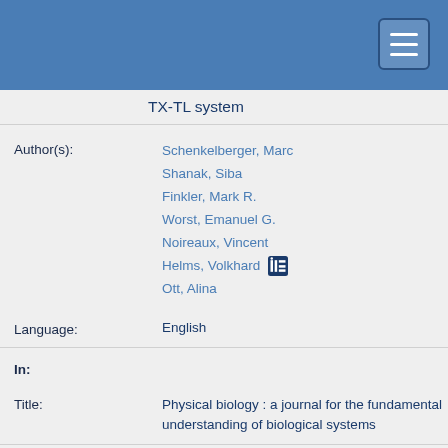TX-TL system
Author(s): Schenkelberger, Marc
Shanak, Siba
Finkler, Mark R.
Worst, Emanuel G.
Noireaux, Vincent
Helms, Volkhard
Ott, Alina
Language: English
In:
Title: Physical biology : a journal for the fundamental understanding of biological systems
Volume: 14
Issue: 2